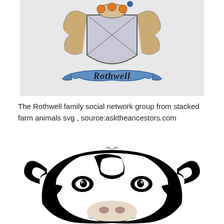[Figure (illustration): Rothwell family coat of arms illustration with heraldic shield, decorative mantling, and a banner reading 'Rothwell' in Gothic script]
The Rothwell family social network group from stacked farm animals svg , source:asktheancestors.com
[Figure (illustration): Black and white silhouette/line art illustration of a cow's face (front-facing), with large ears, prominent eyes and nose, in bold graphic style]